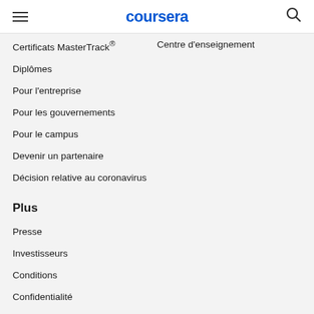coursera
Certificats MasterTrack®
Centre d'enseignement
Diplômes
Pour l'entreprise
Pour les gouvernements
Pour le campus
Devenir un partenaire
Décision relative au coronavirus
Plus
Presse
Investisseurs
Conditions
Confidentialité